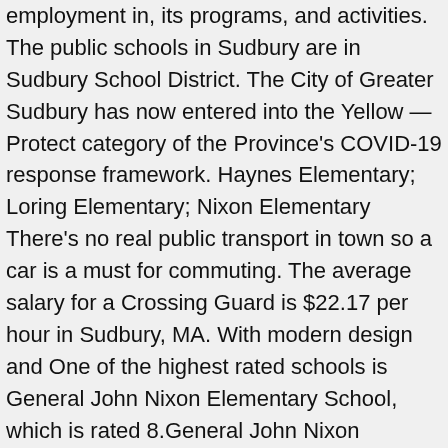employment in, its programs, and activities. The public schools in Sudbury are in Sudbury School District. The City of Greater Sudbury has now entered into the Yellow — Protect category of the Province's COVID-19 response framework. Haynes Elementary; Loring Elementary; Nixon Elementary There's no real public transport in town so a car is a must for commuting. The average salary for a Crossing Guard is $22.17 per hour in Sudbury, MA. With modern design and One of the highest rated schools is General John Nixon Elementary School, which is rated 8.General John Nixon Elementary School has 377 children. The Sudbury Public Schools do not discriminate on the basis of race, color, national origin, gender, age, religion, sexual orientation, veteran status, handicap or homeless in admission or access to, or treatment or employment in, its programs, and activities. Built more than a century ago and welcoming students for the first time in 1915, the structure is "one of the most significant buildings of the area, and in the city of Sudbury, because of its history as the first francophone public school in town and because of its architectural features," according to a 25-page